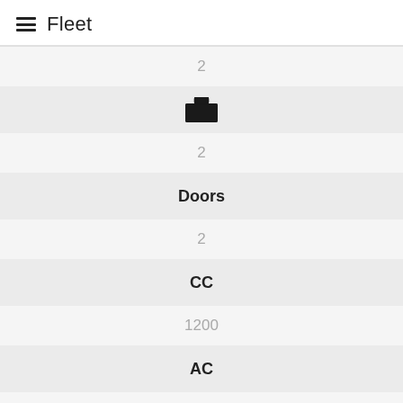Fleet
2
[Figure (illustration): Briefcase icon (black silhouette)]
2
Doors
2
CC
1200
AC
Yes